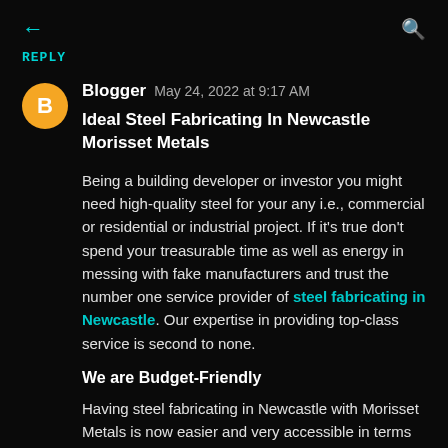← (back arrow) and search icon
REPLY
Blogger  May 24, 2022 at 9:17 AM
Ideal Steel Fabricating In Newcastle Morisset Metals
Being a building developer or investor you might need high-quality steel for your any i.e., commercial or residential or industrial project. If it's true don't spend your treasurable time as well as energy in messing with fake manufacturers and trust the number one service provider of steel fabricating in Newcastle. Our expertise in providing top-class service is second to none.
We are Budget-Friendly
Having steel fabricating in Newcastle with Morisset Metals is now easier and very accessible in terms of price. Being upfront we